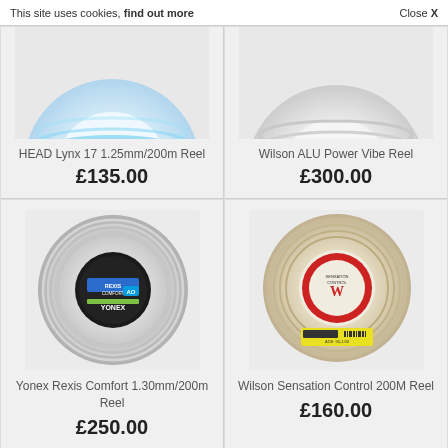This site uses cookies, find out more  Close X
[Figure (photo): HEAD Lynx 17 tennis string reel, blue/white, partially visible at top]
HEAD Lynx 17 1.25mm/200m Reel
£135.00
[Figure (photo): Wilson ALU Power Vibe tennis string reel, white, partially visible at top]
Wilson ALU Power Vibe Reel
£300.00
[Figure (photo): Yonex Rexis Comfort tennis string reel, silver/white with black center label]
Yonex Rexis Comfort 1.30mm/200m Reel
£250.00
[Figure (photo): Wilson Sensation Control tennis string reel, beige/natural with red Wilson logo center]
Wilson Sensation Control 200M Reel
£160.00